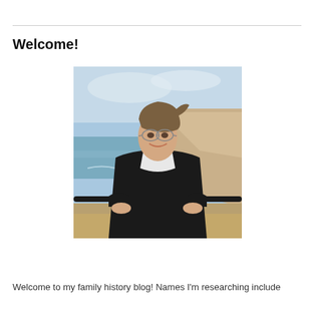Welcome!
[Figure (photo): A woman with short brown hair and glasses, wearing a black cardigan over a white shirt, standing outdoors at a coastal cliff overlook with ocean and sandy cliffs in the background, leaning on a black railing, smiling at the camera.]
Welcome to my family history blog! Names I'm researching include